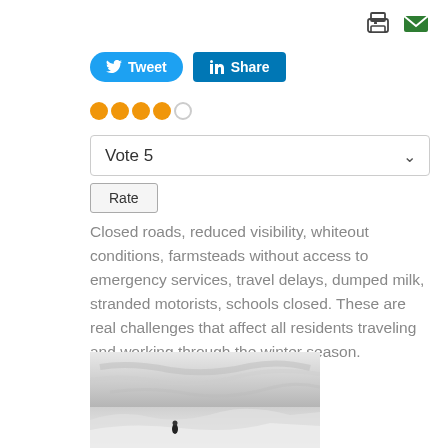[Figure (other): Print icon (printer) in top right corner]
[Figure (other): Email icon (green envelope) in top right corner]
[Figure (other): Twitter Tweet button (blue rounded) and LinkedIn Share button (blue square)]
[Figure (other): Star rating: 4 filled orange circles and 1 empty circle]
[Figure (other): Vote dropdown selector showing 'Vote 5' with down arrow, and Rate button below]
Closed roads, reduced visibility, whiteout conditions, farmsteads without access to emergency services, travel delays, dumped milk, stranded motorists, schools closed. These are real challenges that affect all residents traveling and working through the winter season.
[Figure (photo): Black and white photograph of a snowy winter landscape with a lone figure standing in drifting snow]